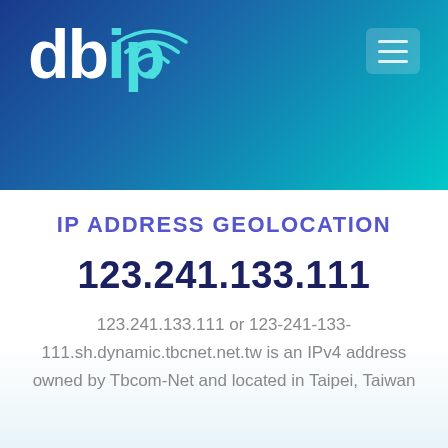[Figure (logo): db-ip logo with wifi signal icon above the 'i', text 'dbip' in white with 'ip' portion in teal, on a blue-to-teal gradient header background]
IP ADDRESS GEOLOCATION
123.241.133.111
123.241.133.111 or 123-241-133-111.sh.dynamic.tbcnet.net.tw is an IPv4 address owned by Tbcom-Net and located in Taipei, Taiwan